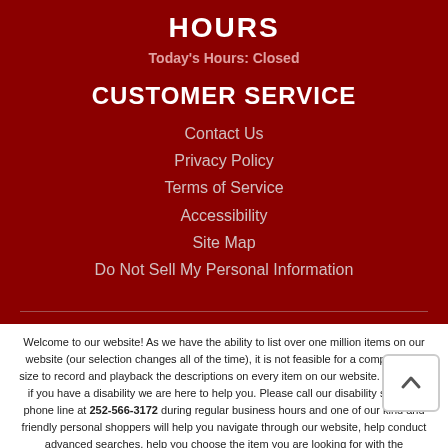HOURS
Today's Hours: Closed
CUSTOMER SERVICE
Contact Us
Privacy Policy
Terms of Service
Accessibility
Site Map
Do Not Sell My Personal Information
Welcome to our website! As we have the ability to list over one million items on our website (our selection changes all of the time), it is not feasible for a company our size to record and playback the descriptions on every item on our website. However, if you have a disability we are here to help you. Please call our disability services phone line at 252-566-3172 during regular business hours and one of our kind and friendly personal shoppers will help you navigate through our website, help conduct advanced searches, help you choose the item you are looking for with the specifications you are seeking, read you the specifications of any item and consult with you about